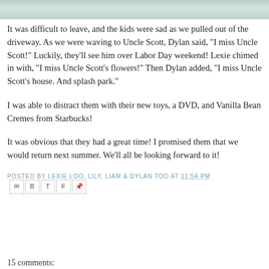[Figure (photo): Partial photo strip at top of page showing people indoors]
It was difficult to leave, and the kids were sad as we pulled out of the driveway. As we were waving to Uncle Scott, Dylan said, "I miss Uncle Scott!" Luckily, they'll see him over Labor Day weekend! Lexie chimed in with, "I miss Uncle Scott's flowers!" Then Dylan added, "I miss Uncle Scott's house. And splash park."
I was able to distract them with their new toys, a DVD, and Vanilla Bean Cremes from Starbucks!
It was obvious that they had a great time! I promised them that we would return next summer. We'll all be looking forward to it!
POSTED BY LEXIE LOO, LILY, LIAM & DYLAN TOO AT 11:54 PM
15 comments: